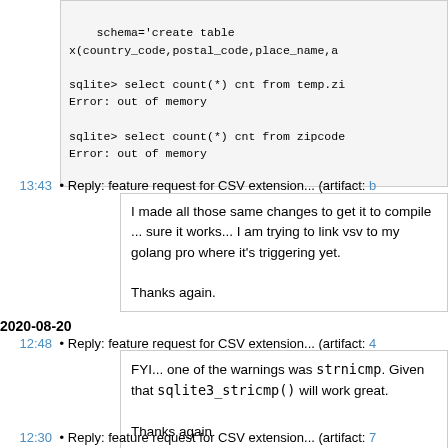schema='create table x(country_code,postal_code,place_name,ad
sqlite> select count(*) cnt from temp.zi
Error: out of memory

sqlite> select count(*) cnt from zipcode
Error: out of memory
13:43 • Reply: feature request for CSV extension... (artifact: b
I made all those same changes to get it to compile ... sure it works... I am trying to link vsv to my golang pro where it's triggering yet.

Thanks again.
2020-08-20
12:48 • Reply: feature request for CSV extension... (artifact: 4
FYI... one of the warnings was strnicmp. Given that sqlite3_stricmp() will work great.

Thanks again
12:30 • Reply: feature request for CSV extension... (artifact: 7